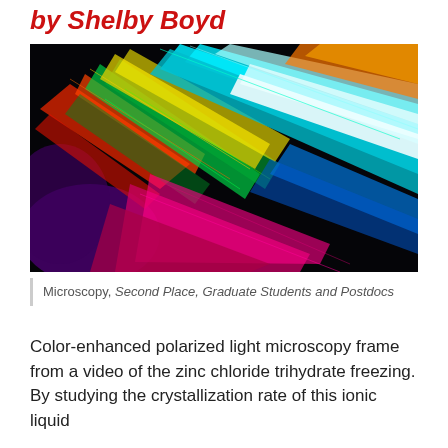by Shelby Boyd
[Figure (photo): Color-enhanced polarized light microscopy image of zinc chloride trihydrate crystals freezing, showing vivid streaks of cyan, blue, yellow, green, red, magenta and purple colors radiating diagonally against a black background.]
Microscopy, Second Place, Graduate Students and Postdocs
Color-enhanced polarized light microscopy frame from a video of the zinc chloride trihydrate freezing. By studying the crystallization rate of this ionic liquid